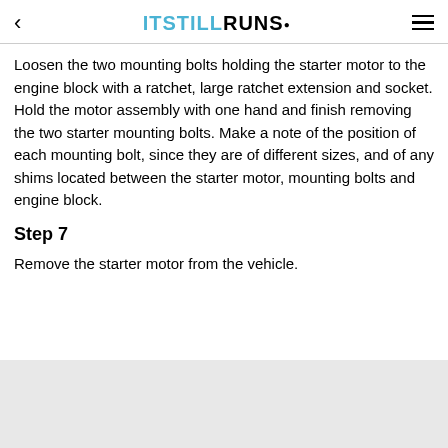ITSTILLRUNS.
Loosen the two mounting bolts holding the starter motor to the engine block with a ratchet, large ratchet extension and socket. Hold the motor assembly with one hand and finish removing the two starter mounting bolts. Make a note of the position of each mounting bolt, since they are of different sizes, and of any shims located between the starter motor, mounting bolts and engine block.
Step 7
Remove the starter motor from the vehicle.
[Figure (photo): Light gray placeholder image area at the bottom of the page]